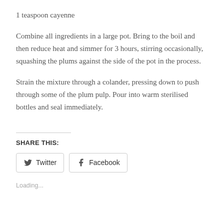1 teaspoon cayenne
Combine all ingredients in a large pot. Bring to the boil and then reduce heat and simmer for 3 hours, stirring occasionally, squashing the plums against the side of the pot in the process.
Strain the mixture through a colander, pressing down to push through some of the plum pulp. Pour into warm sterilised bottles and seal immediately.
SHARE THIS:
Twitter  Facebook
Loading...